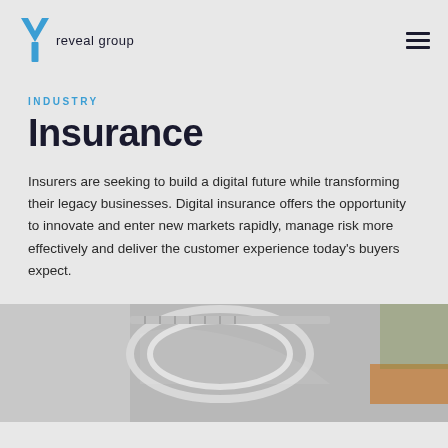reveal group
INDUSTRY
Insurance
Insurers are seeking to build a digital future while transforming their legacy businesses. Digital insurance offers the opportunity to innovate and enter new markets rapidly, manage risk more effectively and deliver the customer experience today's buyers expect.
[Figure (photo): Close-up photo of a car headlight, partially visible, with blurred background showing a building.]